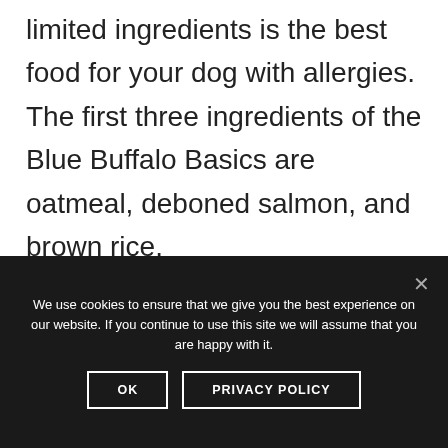limited ingredients is the best food for your dog with allergies. The first three ingredients of the Blue Buffalo Basics are oatmeal, deboned salmon, and brown rice.

These limited ingredients dog food will only give your allergic dog all he needs and not what it doesn't need. The food is
We use cookies to ensure that we give you the best experience on our website. If you continue to use this site we will assume that you are happy with it.